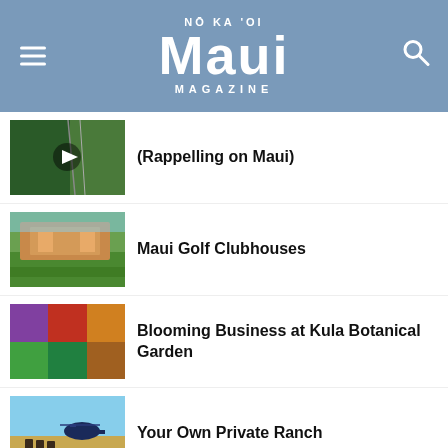NŌ KA 'OI Maui MAGAZINE
(Rappelling on Maui)
Maui Golf Clubhouses
Blooming Business at Kula Botanical Garden
Your Own Private Ranch
In Pursuit of Pleasure: Spa